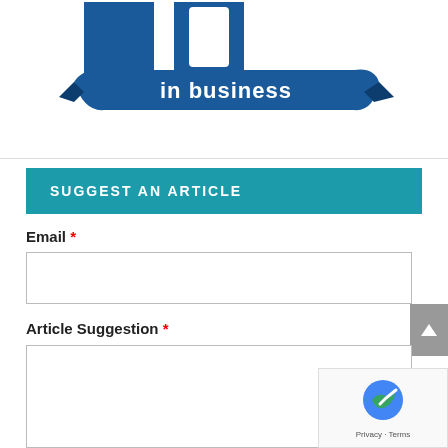[Figure (logo): Partial logo showing '40 in business' text on a blue banner ribbon, cropped at top]
SUGGEST AN ARTICLE
Email *
Article Suggestion *